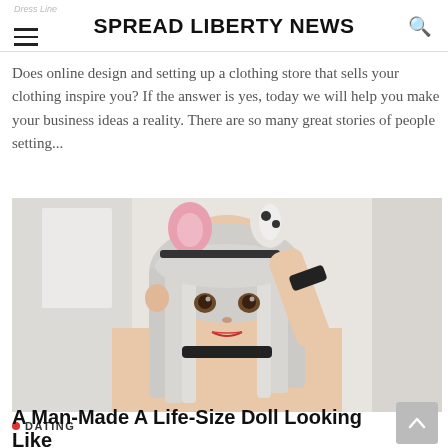SPREAD LIBERTY NEWS
Does online design and setting up a clothing store that sells your clothing inspire you? If the answer is yes, today we will help you make your business ideas a reality. There are so many great stories of people setting...
[Figure (photo): A person resembling an anime-style doll or figure with silver/white long hair, wearing cat/mouse ears headband (pink and white with black trim), black wrist cuff, photographed in a bright indoor setting.]
DATING
A Man-Made A Life-Size Doll Looking Like